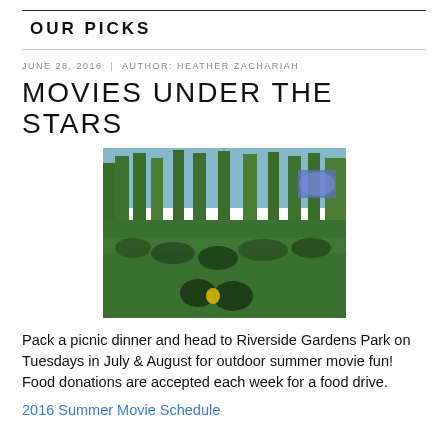OUR PICKS
JUNE 28, 2016  |  AUTHOR: HEATHER ZACHARIAH
MOVIES UNDER THE STARS
[Figure (photo): Outdoor movie event at a park, people sitting on grass watching a screen in the evening, surrounded by tall trees with blue/purple stage lighting visible in background.]
Pack a picnic dinner and head to Riverside Gardens Park on Tuesdays in July & August for outdoor summer movie fun! Food donations are accepted each week for a food drive.
2016 Summer Movie Schedule